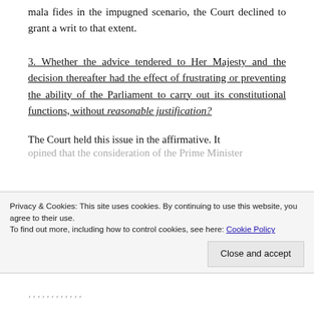mala fides in the impugned scenario, the Court declined to grant a writ to that extent.
3. Whether the advice tendered to Her Majesty and the decision thereafter had the effect of frustrating or preventing the ability of the Parliament to carry out its constitutional functions, without reasonable justification?
The Court held this issue in the affirmative. It opined that the consideration of the Prime Minister...
Privacy & Cookies: This site uses cookies. By continuing to use this website, you agree to their use. To find out more, including how to control cookies, see here: Cookie Policy
Close and accept